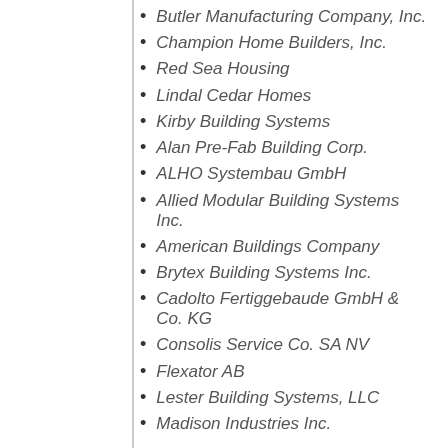Butler Manufacturing Company, Inc.
Champion Home Builders, Inc.
Red Sea Housing
Lindal Cedar Homes
Kirby Building Systems
Alan Pre-Fab Building Corp.
ALHO Systembau GmbH
Allied Modular Building Systems Inc.
American Buildings Company
Brytex Building Systems Inc.
Cadolto Fertiggebaude GmbH & Co. KG
Consolis Service Co. SA NV
Flexator AB
Lester Building Systems, LLC
Madison Industries Inc.